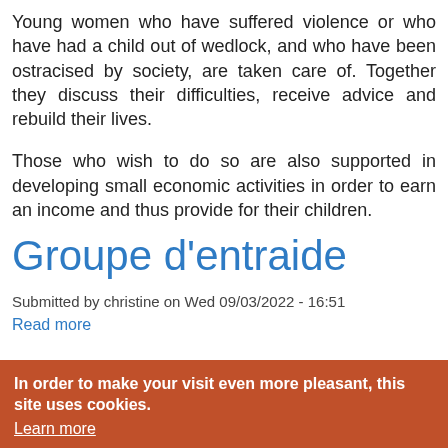Young women who have suffered violence or who have had a child out of wedlock, and who have been ostracised by society, are taken care of. Together they discuss their difficulties, receive advice and rebuild their lives.
Those who wish to do so are also supported in developing small economic activities in order to earn an income and thus provide for their children.
Groupe d'entraide
Submitted by christine on Wed 09/03/2022 - 16:51
Read more
In order to make your visit even more pleasant, this site uses cookies.
Learn more